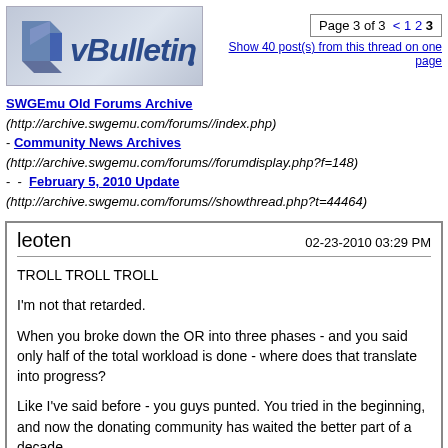[Figure (logo): vBulletin logo with stylized blue text and angular icon on light grey background]
Page 3 of 3 < 1 2 3
Show 40 post(s) from this thread on one page
SWGEmu Old Forums Archive (http://archive.swgemu.com/forums//index.php) - Community News Archives (http://archive.swgemu.com/forums//forumdisplay.php?f=148) - - February 5, 2010 Update (http://archive.swgemu.com/forums//showthread.php?t=44464)
leoten
02-23-2010 03:29 PM
TROLL TROLL TROLL

I'm not that retarded.

When you broke down the OR into three phases - and you said only half of the total workload is done - where does that translate into progress?

Like I've said before - you guys punted. You tried in the beginning, and now the donating community has waited the better part of a decade.

You won't find fanboi dev love nuggets here. Cascade dev fail.